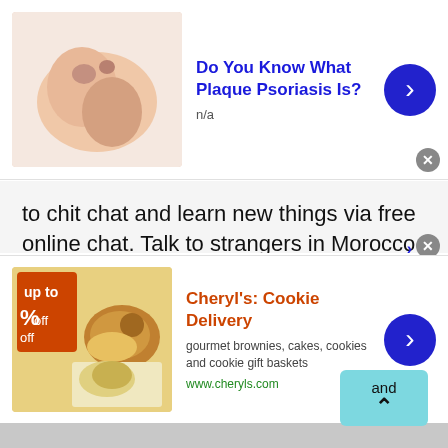[Figure (infographic): Top advertisement banner: skin/hand image on left, bold blue title 'Do You Know What Plaque Psoriasis Is?' with 'n/a' subtitle, blue arrow circle button on right, gray close X button]
to chit chat and learn new things via free online chat. Talk to strangers in Morocco at Talkwithstranger men and women chat rooms help you connect with the world absolutely free. If you are searching for friends online from different countries then at the TWS country specific chat option you will surely find your best partner.

Well, if you think socializing or meeting male and female partners is quite impossible during this
[Figure (infographic): Bottom advertisement banner: Cheryl's Cookie Delivery ad with cookie/brownie image, orange-red bold title, description text and green URL, blue arrow circle button on right, gray close X button and blue arrow indicator]